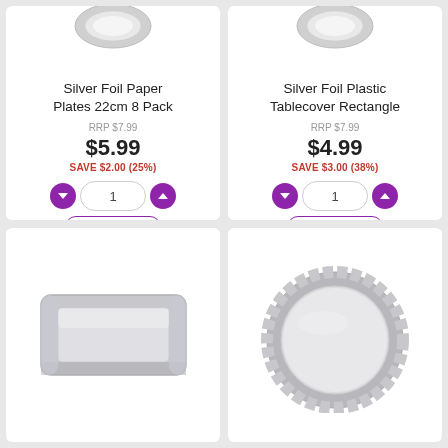[Figure (photo): Silver Foil Paper Plates 22cm 8 Pack product card with quantity selector and add to cart button]
Silver Foil Paper Plates 22cm 8 Pack
RRP $7.99
$5.99
SAVE $2.00 (25%)
[Figure (photo): Silver Foil Plastic Tablecover Rectangle product card with quantity selector and add to cart button]
Silver Foil Plastic Tablecover Rectangle
RRP $7.99
$4.99
SAVE $3.00 (38%)
[Figure (photo): Silver foil rectangular tray/plate product image]
[Figure (photo): Silver foil round paper plate product image]